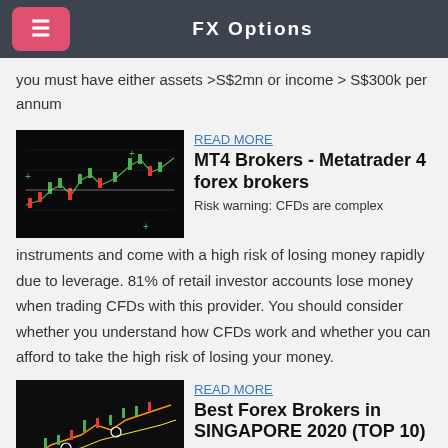FX Options
you must have either assets >S$2mn or income > S$300k per annum
[Figure (screenshot): MT4 forex trading chart showing candlestick price action with green cross markers on a dark background]
READ MORE
MT4 Brokers - Metatrader 4 forex brokers
Risk warning: CFDs are complex instruments and come with a high risk of losing money rapidly due to leverage. 81% of retail investor accounts lose money when trading CFDs with this provider. You should consider whether you understand how CFDs work and whether you can afford to take the high risk of losing your money.
[Figure (screenshot): Forex trading chart with candlesticks on dark background with orange/yellow lines and circle markers]
READ MORE
Best Forex Brokers in SINGAPORE 2020 (TOP 10)